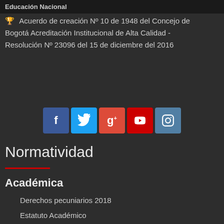Educación Nacional
🏆 Acuerdo de creación Nº 10 de 1948 del Concejo de Bogotá Acreditación Institucional de Alta Calidad - Resolución Nº 23096 del 15 de diciembre del 2016
[Figure (other): Social media icons row: Facebook, Twitter, Google+, YouTube, Instagram]
Normatividad
Académica
Derechos pecuniarios 2018
Estatuto Académico